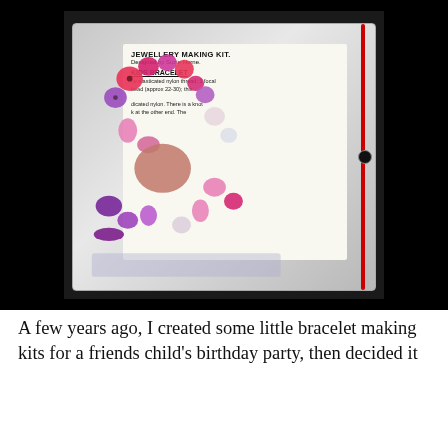[Figure (photo): A clear plastic zip-lock bag containing a jewellery making kit for kids bracelet. The bag contains various pink, purple, and pearl beads. A white label card inside the bag reads 'JEWELLERY MAKING KIT. Designed by Suzie Horne.' and 'KIDS BRACELET' with instructions about elasticated nylon thread, focal bead (approx 22-30), and knotting. A red stripe runs along the right edge of the bag with a small round hole.]
A few years ago, I created some little bracelet making kits for a friends child's birthday party, then decided it